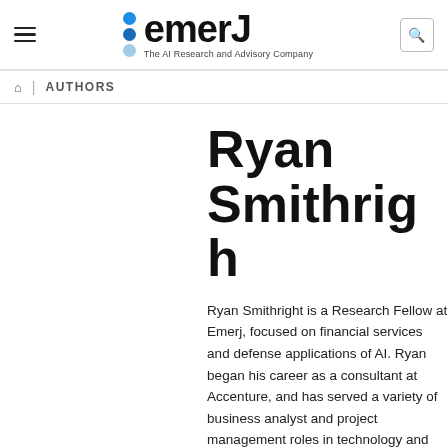[Figure (logo): Emerj logo with three colored dots (blue, dark blue, light blue) and text 'emerJ' with tagline 'The AI Research and Advisory Company']
AUTHORS
Ryan Smithright
Ryan Smithright is a Research Fellow at Emerj, focused on financial services and defense applications of AI. Ryan began his career as a consultant at Accenture, and has served a variety of business analyst and project management roles in technology and defense.